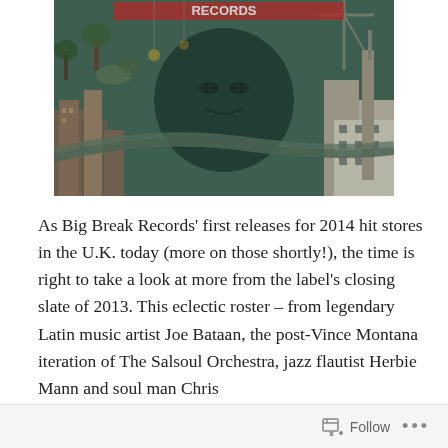[Figure (illustration): Album cover artwork featuring a surreal cityscape with a large human face in the center overlaid with fantastical flying figures, buildings, cranes, and urban structures in a painterly style with green and teal tones.]
As Big Break Records' first releases for 2014 hit stores in the U.K. today (more on those shortly!), the time is right to take a look at more from the label's closing slate of 2013. This eclectic roster – from legendary Latin music artist Joe Bataan, the post-Vince Montana iteration of The Salsoul Orchestra, jazz flautist Herbie Mann and soul man Chris
Follow ...